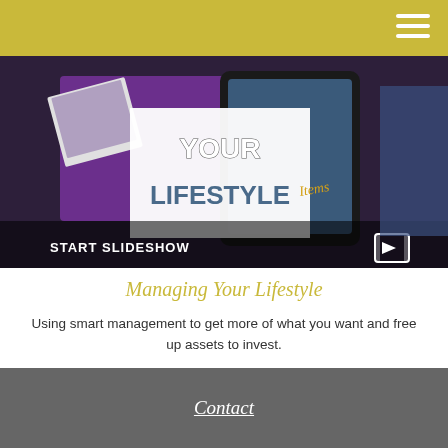[Figure (photo): A hero image showing hands with a tablet displaying 'YOUR LIFESTYLE' text, with purple background and photos. A 'START SLIDESHOW' button with a slideshow icon is visible at the bottom of the image.]
Managing Your Lifestyle
Using smart management to get more of what you want and free up assets to invest.
Contact